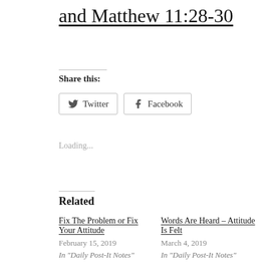and Matthew 11:28-30
Share this:
Twitter  Facebook
Loading...
Related
Fix The Problem or Fix Your Attitude
February 15, 2019
In "Daily Post-It Notes"
Words Are Heard – Attitude Is Felt
March 4, 2019
In "Daily Post-It Notes"